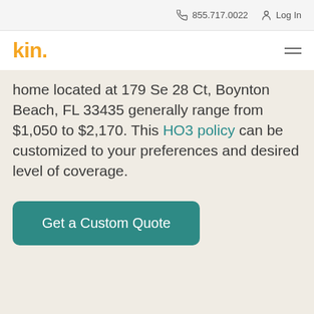855.717.0022  Log In
[Figure (logo): Kin insurance logo in orange/yellow with hamburger menu icon]
home located at 179 Se 28 Ct, Boynton Beach, FL 33435 generally range from $1,050 to $2,170. This HO3 policy can be customized to your preferences and desired level of coverage.
Get a Custom Quote